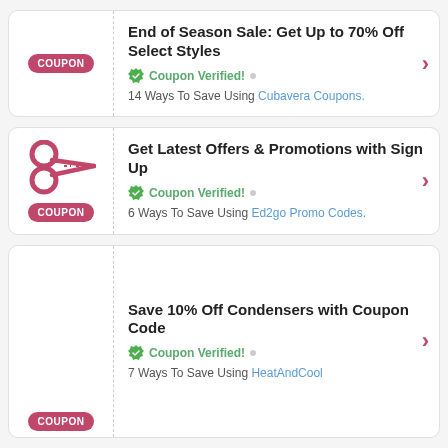[Figure (infographic): Coupon card 1: End of Season Sale coupon with COUPON badge on left and title, verified badge, and ways to save text on right]
End of Season Sale: Get Up to 70% Off Select Styles
Coupon Verified! • 14 Ways To Save Using Cubavera Coupons.
[Figure (infographic): Coupon card 2: Get Latest Offers & Promotions with scissors icon and COUPON badge on left]
Get Latest Offers & Promotions with Sign Up
Coupon Verified! • 6 Ways To Save Using Ed2go Promo Codes.
[Figure (infographic): Coupon card 3 (partially visible): Save 10% Off Condensers with Coupon Code]
Save 10% Off Condensers with Coupon Code
Coupon Verified! • 7 Ways To Save Using HeatAndCool